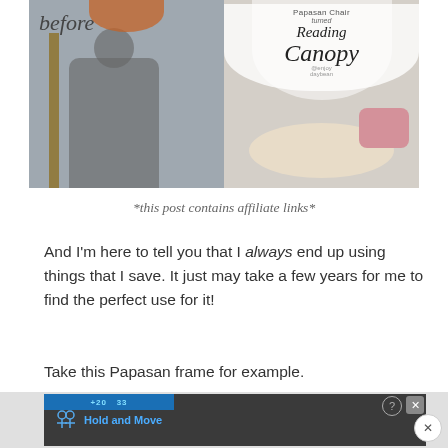[Figure (photo): Composite image showing a 'before' photo of a child installing a papasan chair frame near a window (left side) and an 'after' photo of the frame turned into a reading canopy with white tulle and a round cushion (right side). Overlaid text reads 'Papasan Chair turned Reading Canopy' in stylized script.]
*this post contains affiliate links*
And I'm here to tell you that I always end up using things that I save. It just may take a few years for me to find the perfect use for it!
Take this Papasan frame for example.
[Figure (screenshot): Advertisement banner at the bottom showing a dark background with blue accent bar labeled '+20 33' and 'Hold and Move' text with a figure icon, plus a close button.]